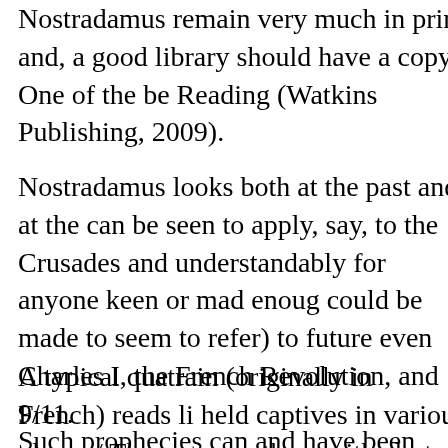Nostradamus remain very much in print and, a good library should have a copy. One of the be Reading (Watkins Publishing, 2009).
Nostradamus looks both at the past and at the can be seen to apply, say, to the Crusades and understandably for anyone keen or mad enough could be made to seem to refer) to future even Charles I, the French Revolution, and 9/11.
A typical quatrain (originally in French) reads li held captives in various places / They pass ne them with alert attention / It is disagreeable to nose and face' – interpretation that the marks w 666, the reference to an Antichrist, and so app
Such prophecies can and have been applied to